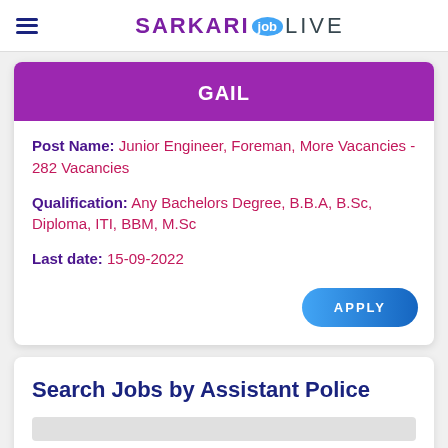SARKARI job LIVE
GAIL
Post Name: Junior Engineer, Foreman, More Vacancies - 282 Vacancies
Qualification: Any Bachelors Degree, B.B.A, B.Sc, Diploma, ITI, BBM, M.Sc
Last date: 15-09-2022
Search Jobs by Assistant Police